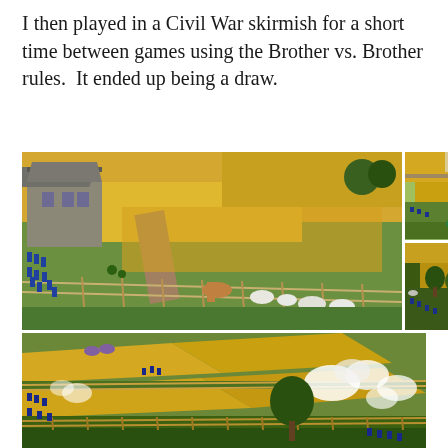I then played in a Civil War skirmish for a short time between games using the Brother vs. Brother rules.  It ended up being a draw.
[Figure (photo): Collage of four photos showing a Civil War miniature wargame tabletop. Top-left large photo: bird's-eye view of a farm scene with stone building, yellow cornfield terrain, miniature soldiers, and farm animals (horse, sheep, pigs). Top-right two smaller photos stacked: aerial views of fields with green and yellow terrain patches and small blue soldier miniatures. Bottom wide photo: close-up view of battlefield with yellow and green field terrain, miniature soldiers, fences, a tree, and white smoke puffs from gunfire.]